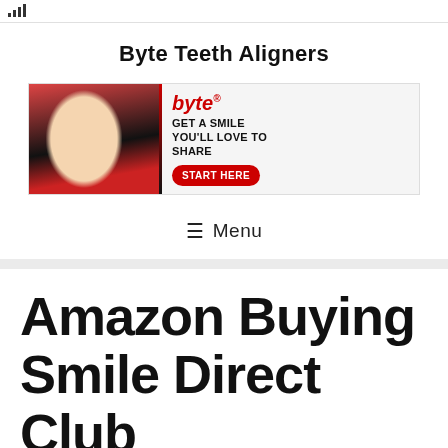signal bars
Byte Teeth Aligners
[Figure (photo): Byte teeth aligners advertisement banner. Shows a woman smiling, the Byte logo in red italic text, tagline 'GET A SMILE YOU'LL LOVE TO SHARE', and a red 'START HERE' button.]
☰ Menu
Amazon Buying Smile Direct Club
What Are Byte